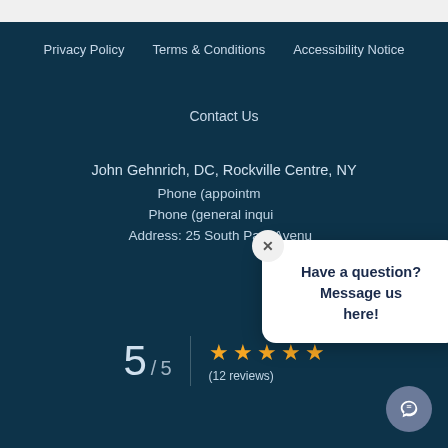Privacy Policy
Terms & Conditions
Accessibility Notice
Contact Us
John Gehnrich, DC, Rockville Centre, NY
Phone (appointments)
Phone (general inquiries)
Address: 25 South Park Avenue
[Figure (infographic): Rating display showing 5/5 with 5 gold stars and (12 reviews)]
Have a question? Message us here!